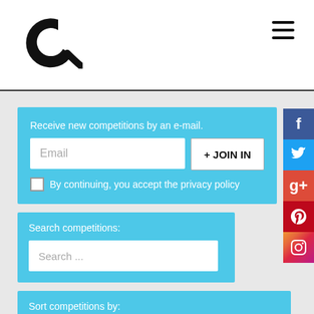[Figure (logo): Site logo: stylized letter C with a swoosh, in black]
[Figure (infographic): Hamburger menu icon (three horizontal lines) in top right corner]
Receive new competitions by an e-mail.
Email
+ JOIN IN
By continuing, you accept the privacy policy
Search competitions:
Search ...
Sort competitions by:
submission time:
ending soonest
ending latest
registration time:
ending soonest